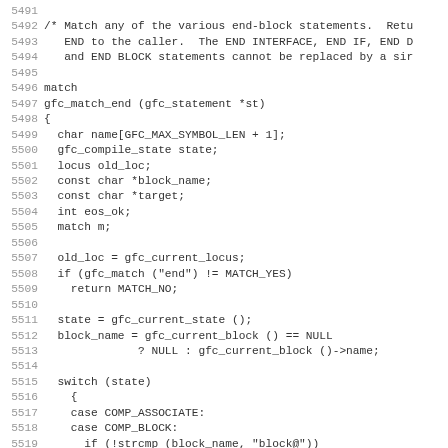Source code listing lines 5491-5522 showing gfc_match_end function in C